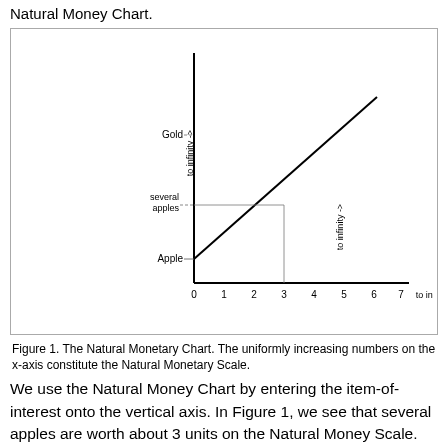Natural Money Chart.
[Figure (continuous-plot): A line chart titled 'Natural Money Chart' showing a straight diagonal line from origin (0, Apple) rising to upper right (beyond 6, above Gold). The y-axis has labels: Apple (bottom), several apples (middle), Gold (upper). The x-axis runs from 0 to 7 with label 'to infinity ->' beyond 7. The y-axis also has 'to infinity ->' at the top. A horizontal dashed line from 'several apples' meets the diagonal at x=3, with a vertical line dropping to the x-axis.]
Figure 1. The Natural Monetary Chart. The uniformly increasing numbers on the x-axis constitute the Natural Monetary Scale.
We use the Natural Money Chart by entering the item-of-interest onto the vertical axis. In Figure 1, we see that several apples are worth about 3 units on the Natural Money Scale. Gold is more valuable but not yet evaluated. One apple is less valuable than several apples but (again) not evaluated.
The Natural Money Chart is a purely arbitrary chart. The